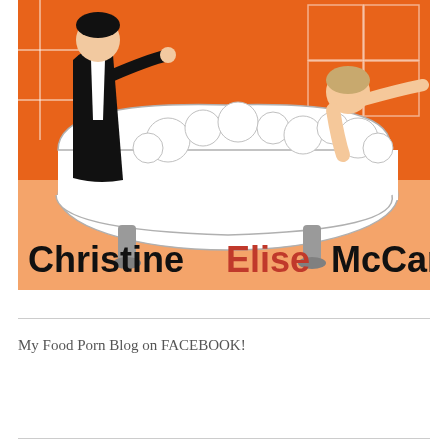[Figure (illustration): Cartoon illustration of a woman in a bubble bath being bathed by a tuxedo-clad man, on an orange background. Text at bottom reads 'Christine Elise McCarthy' with 'Elise' in red and the other words in black bold.]
My Food Porn Blog on FACEBOOK!